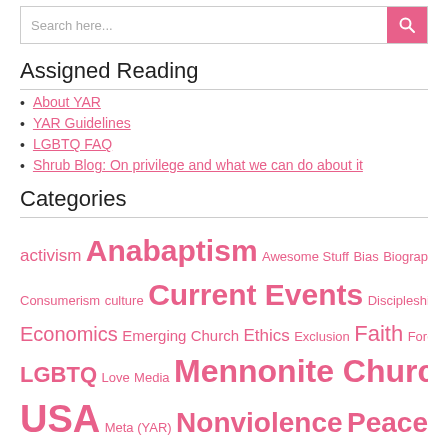Search here...
Assigned Reading
About YAR
YAR Guidelines
LGBTQ FAQ
Shrub Blog: On privilege and what we can do about it
Categories
activism Anabaptism Awesome Stuff Bias Biographical Change Church Community Consumerism culture Current Events Discipleship Economics Emerging Church Ethics Exclusion Faith Foreign Policy Gender God Group Identity History International Relations LGBTQ Love Media Mennonite Church USA Meta (YAR) Nonviolence Peace & ...